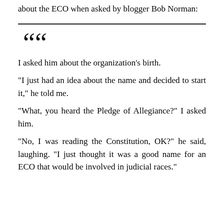about the ECO when asked by blogger Bob Norman:
“I asked him about the organization’s birth. “I just had an idea about the name and decided to start it,” he told me. “What, you heard the Pledge of Allegiance?” I asked him. “No, I was reading the Constitution, OK?” he said, laughing. “I just thought it was a good name for an ECO that would be involved in judicial races.”